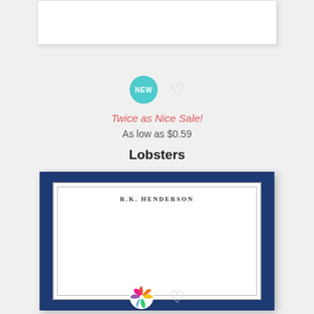[Figure (illustration): Partial white product card visible at top of page]
[Figure (infographic): NEW teal badge and gray heart icon]
Twice as Nice Sale!
As low as $0.59
Lobsters
[Figure (illustration): Personalized stationery card with navy blue border and text R.K. HENDERSON at top]
[Figure (logo): Colorful pinwheel logo and gray heart icon at bottom]